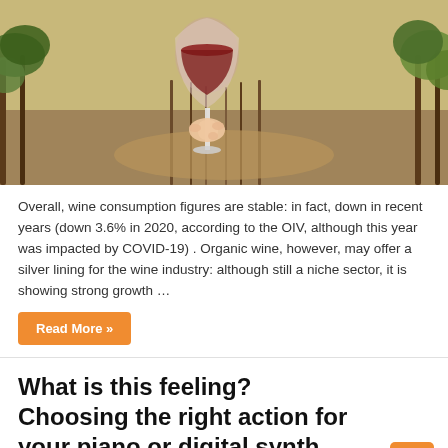[Figure (photo): Person holding a wine glass with red wine up in a vineyard with rows of vines in the background, outdoor daytime setting]
Overall, wine consumption figures are stable: in fact, down in recent years (down 3.6% in 2020, according to the OIV, although this year was impacted by COVID-19) . Organic wine, however, may offer a silver lining for the wine industry: although still a niche sector, it is showing strong growth …
Read More »
What is this feeling? Choosing the right action for your piano or digital synth
March 24, 2022  Novation  Comments Off